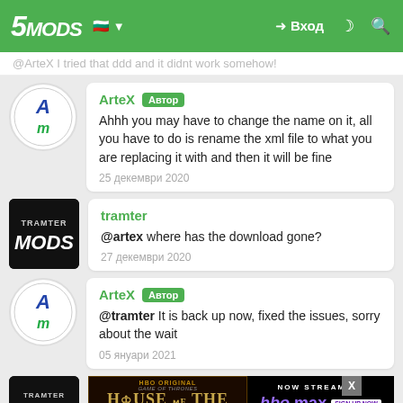5MODS | Вход
@ArteX I tried that ddd and it didnt work somehow!
ArteX Автор
Ahhh you may have to change the name on it, all you have to do is rename the xml file to what you are replacing it with and then it will be fine
25 декември 2020
tramter
@artex where has the download gone?
27 декември 2020
ArteX Автор
@tramter It is back up now, fixed the issues, sorry about the wait
05 януари 2021
[Figure (screenshot): Advertisement banner for House of the Dragon on HBO Max, with close button X]